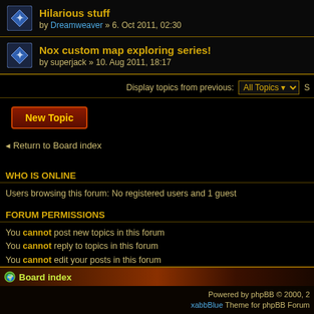Hilarious stuff by Dreamweaver » 6. Oct 2011, 02:30
Nox custom map exploring series! by superjack » 10. Aug 2011, 18:17
Display topics from previous: All Topics
[Figure (screenshot): New Topic button - red/dark button with gold text]
Return to Board index
WHO IS ONLINE
Users browsing this forum: No registered users and 1 guest
FORUM PERMISSIONS
You cannot post new topics in this forum
You cannot reply to topics in this forum
You cannot edit your posts in this forum
You cannot delete your posts in this forum
You cannot post attachments in this forum
Board index
Powered by phpBB © 2000, 2 xabbBlue Theme for phpBB Forum